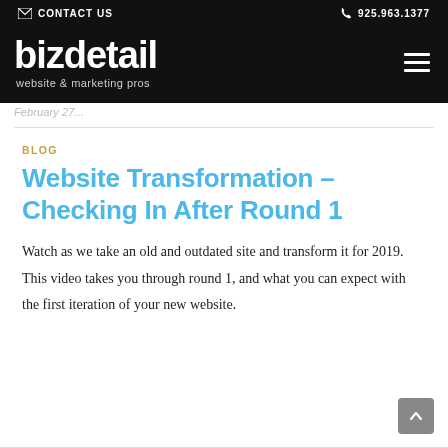CONTACT US | 925.963.1377
[Figure (logo): bizdetail website & marketing pros logo on black background with hamburger menu icon]
partially visible italic text row
BLOG
Website Transformation – Checking In After Round 1
Watch as we take an old and outdated site and transform it for 2019. This video takes you through round 1, and what you can expect with the first iteration of your new website.